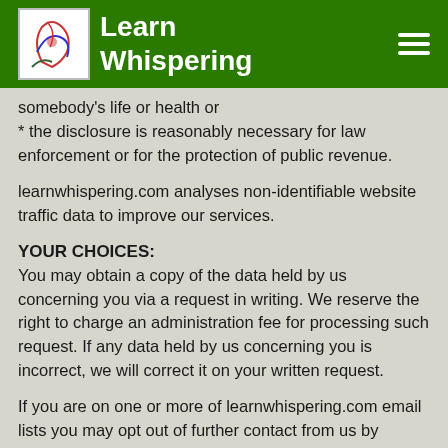Learn Whispering
somebody's life or health or
* the disclosure is reasonably necessary for law enforcement or for the protection of public revenue.
learnwhispering.com analyses non-identifiable website traffic data to improve our services.
YOUR CHOICES:
You may obtain a copy of the data held by us concerning you via a request in writing. We reserve the right to charge an administration fee for processing such request. If any data held by us concerning you is incorrect, we will correct it on your written request.
If you are on one or more of learnwhispering.com email lists you may opt out of further contact from us by clicking the leave mailing list option in all emails sent. You will need to